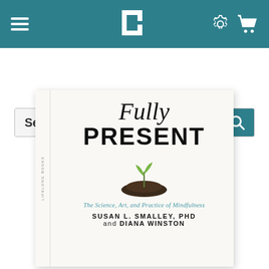[Figure (screenshot): Website navigation bar with hamburger menu, Hachette Book Group logo (H icon), settings gear icon, and shopping cart icon on teal/dark cyan background]
[Figure (screenshot): Search bar with bold 'Search' placeholder text and teal search button with magnifying glass icon]
[Figure (illustration): Book cover for 'Fully Present: The Science, Art, and Practice of Mindfulness' by Susan L. Smalley, PhD and Diana Winston. Cover features italic 'Fully' in serif font, bold 'PRESENT' in sans-serif, a small seedling growing from a mound of soil, subtitle in teal italic, and authors' names in caps at bottom. Published by Lifelong Books/Da Capo Press.]